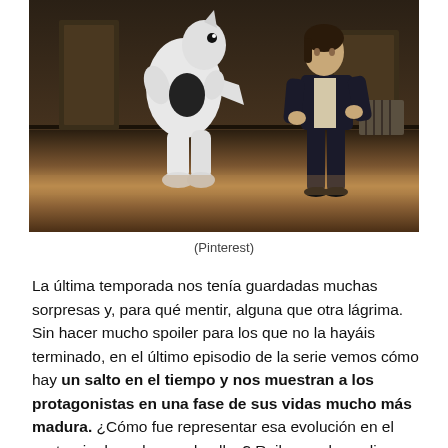[Figure (photo): Two people standing indoors on a wooden floor. One person is wearing a white dinosaur/creature full-body costume, the other is a woman in a dark blazer and black heels. Background shows an interior room setting.]
(Pinterest)
La última temporada nos tenía guardadas muchas sorpresas y, para qué mentir, alguna que otra lágrima. Sin hacer mucho spoiler para los que no la hayáis terminado, en el último episodio de la serie vemos cómo hay un salto en el tiempo y nos muestran a los protagonistas en una fase de sus vidas mucho más madura. ¿Cómo fue representar esa evolución en el vestuario de cada uno de ellos? Reiko nos lo explica: